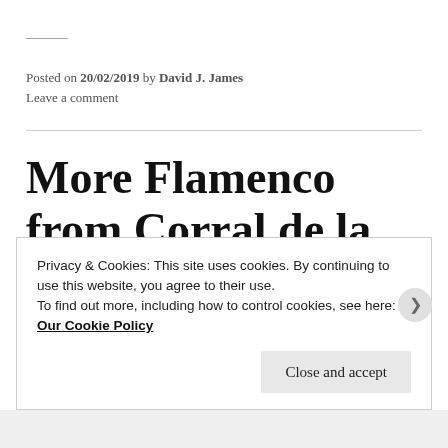Posted on 20/02/2019 by David J. James
Leave a comment
More Flamenco from Corral de la Pacheca (Huliganov's Madrid Experience #5)
Privacy & Cookies: This site uses cookies. By continuing to use this website, you agree to their use.
To find out more, including how to control cookies, see here: Our Cookie Policy
Close and accept